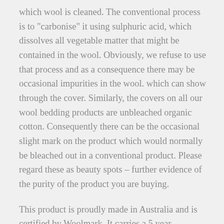which wool is cleaned. The conventional process is to "carbonise" it using sulphuric acid, which dissolves all vegetable matter that might be contained in the wool. Obviously, we refuse to use that process and as a consequence there may be occasional impurities in the wool. which can show through the cover. Similarly, the covers on all our wool bedding products are unbleached organic cotton. Consequently there can be the occasional slight mark on the product which would normally be bleached out in a conventional product. Please regard these as beauty spots – further evidence of the purity of the product you are buying.
This product is proudly made in Australia and is certified by Woolmark. It carries a 5 year workmanship guarantee..
Please choose wisely and check your order on arrival as used bedding cannot be returned.